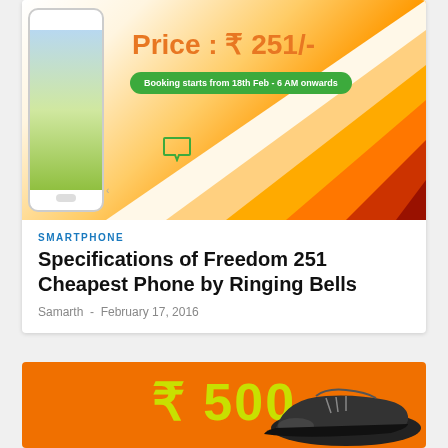[Figure (photo): Smartphone product banner showing a phone with a field/nature wallpaper on the left, orange price text 'Price : ₹ 251/-' and a green booking badge 'Booking starts from 18th Feb - 6 AM onwards', with orange/red gradient stripe design on the right]
SMARTPHONE
Specifications of Freedom 251 Cheapest Phone by Ringing Bells
Samarth - February 17, 2016
[Figure (photo): Orange banner showing '₹ 500' in large yellow-green text with a dark shoe/sneaker on the right side]